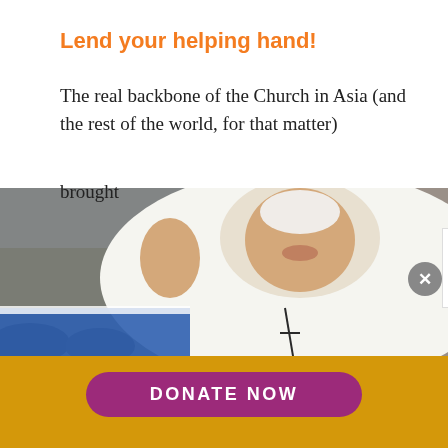Lend your helping hand!
The real backbone of the Church in Asia (and the rest of the world, for that matter) brought 's such
[Figure (photo): Photo of Pope Francis in white papal vestments, waving and smiling, with a crowd behind him]
[Figure (logo): UCAN store popup overlay with book logo and 'UCAN store' text]
SPECIAL EBOOKS (vertical sidebar text)
Your small contribution can make a big difference. Support UCA News.
DONATE NOW